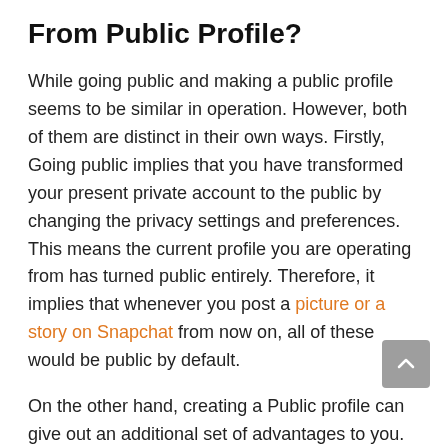From Public Profile?
While going public and making a public profile seems to be similar in operation. However, both of them are distinct in their own ways. Firstly, Going public implies that you have transformed your present private account to the public by changing the privacy settings and preferences. This means the current profile you are operating from has turned public entirely. Therefore, it implies that whenever you post a picture or a story on Snapchat from now on, all of these would be public by default.
On the other hand, creating a Public profile can give out an additional set of advantages to you. By